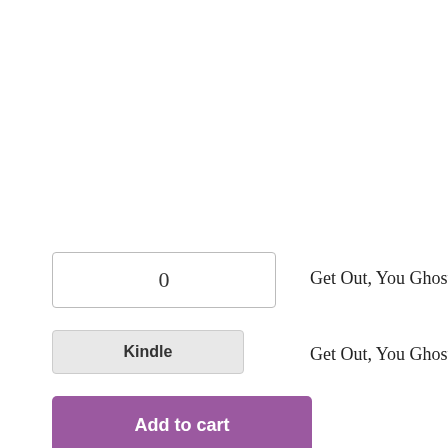0
Get Out, You Ghosts: Stories from the Workshop W
Kindle
Get Out, You Ghosts: Stories from the Workshops
Add to cart
Category: Books
Description
Reviews (9)
“First I had to actually break free o so that I had a ghost of a chance ra